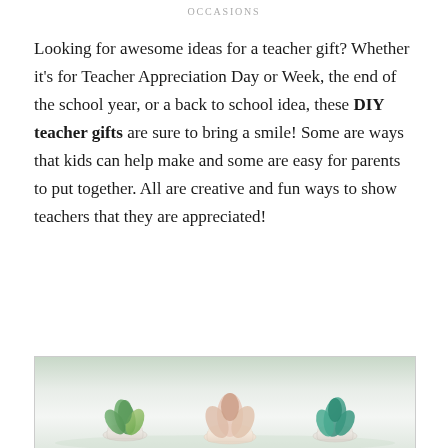OCCASIONS
Looking for awesome ideas for a teacher gift? Whether it's for Teacher Appreciation Day or Week, the end of the school year, or a back to school idea, these DIY teacher gifts are sure to bring a smile! Some are ways that kids can help make and some are easy for parents to put together. All are creative and fun ways to show teachers that they are appreciated!
[Figure (photo): Succulents in small white pots arranged together, photographed from a low angle with a light background]